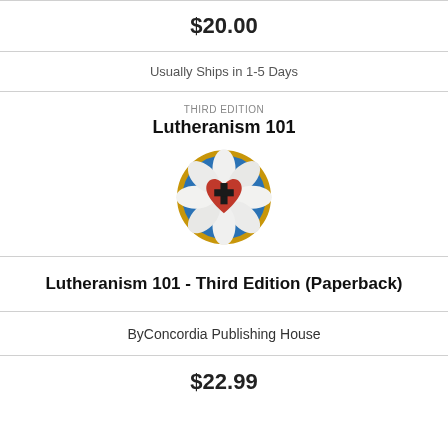$20.00
Usually Ships in 1-5 Days
[Figure (illustration): Book cover of Lutheranism 101 Third Edition showing Luther's Rose — a red heart with a black cross on a white rose against a blue circle with gold border. Title text 'THIRD EDITION' and 'Lutheranism 101' appear above the image.]
Lutheranism 101 - Third Edition (Paperback)
By Concordia Publishing House
$22.99
Usually Ships in 1-5 Days